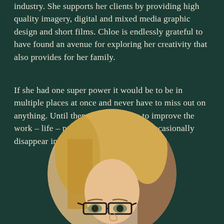industry. She supports her clients by providing high quality imagery, digital and mixed media graphic design and short films. Chloe is endlessly grateful to have found an avenue for exploring her creativity that also provides for her family.
If she had one super power it would be to be in multiple places at once and never have to miss out on anything. Until then she'll continue to improve the work – life – parenthood balance and occasionally disappear into the west coast wilderness.
[Figure (photo): Circular cropped portrait photo of a blonde woman wearing black-rimmed glasses, partially visible from forehead to chin, set against a dark green background.]